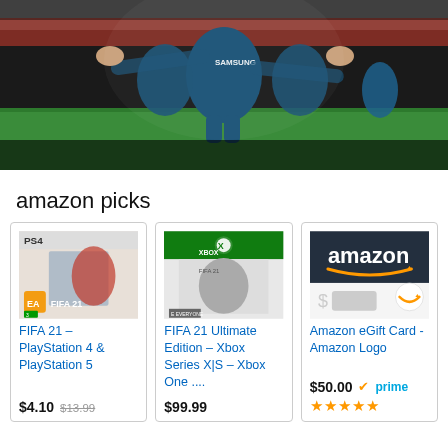[Figure (photo): Chelsea FC football players celebrating in blue Samsung jerseys on a stadium pitch]
amazon picks
[Figure (photo): FIFA 21 PlayStation 4 & PlayStation 5 game cover]
FIFA 21 – PlayStation 4 & PlayStation 5
$4.10  $13.99
[Figure (photo): FIFA 21 Ultimate Edition Xbox Series X|S – Xbox One game cover]
FIFA 21 Ultimate Edition – Xbox Series X|S – Xbox One  ....
$99.99
[Figure (photo): Amazon eGift Card with Amazon Logo]
Amazon eGift Card - Amazon Logo
$50.00 prime (5 stars)